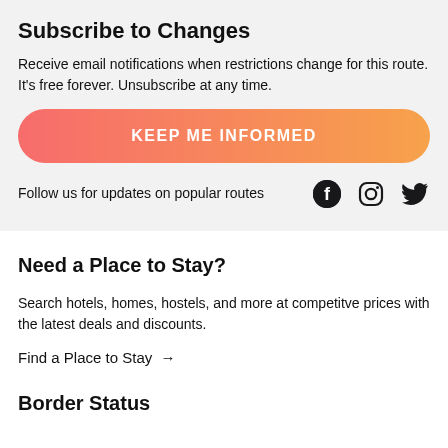Subscribe to Changes
Receive email notifications when restrictions change for this route. It's free forever. Unsubscribe at any time.
KEEP ME INFORMED
Follow us for updates on popular routes
Need a Place to Stay?
Search hotels, homes, hostels, and more at competitve prices with the latest deals and discounts.
Find a Place to Stay →
Border Status